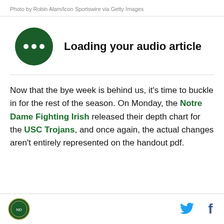Photo by Robin Alam/Icon Sportswire via Getty Images
[Figure (other): Dark green circular audio player button with three dots, next to text 'Loading your audio article']
Now that the bye week is behind us, it's time to buckle in for the rest of the season. On Monday, the Notre Dame Fighting Irish released their depth chart for the USC Trojans, and once again, the actual changes aren't entirely represented on the handout pdf.
Logo icon, Twitter icon, Facebook icon